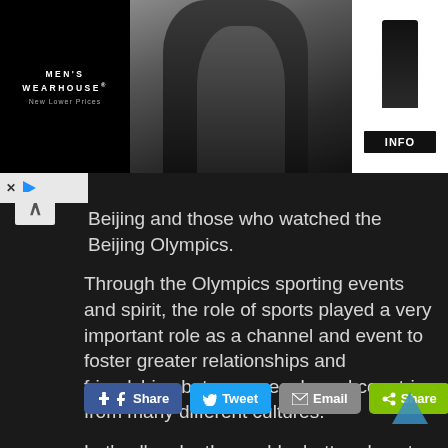[Figure (screenshot): Men's Wearhouse advertisement banner showing a couple in formal wear, a man in a tuxedo on the right side, with brand name 'MEN'S WEARHOUSE New Lower Prices' on black background and an INFO button]
Beijing and those who watched the Beijing Olympics.
Through the Olympics sporting events and spirit, the role of sports played a very important role as a channel and event to foster greater relationships and friendships between people and countries from many different cultures.
Let's all make the world a better place to live in !
[Figure (screenshot): Social sharing buttons: Facebook Share (blue), Twitter Tweet (light blue), Email (gray), Share (green)]
[Figure (screenshot): Scroll-to-top arrow button in bottom right corner, teal/blue colored]